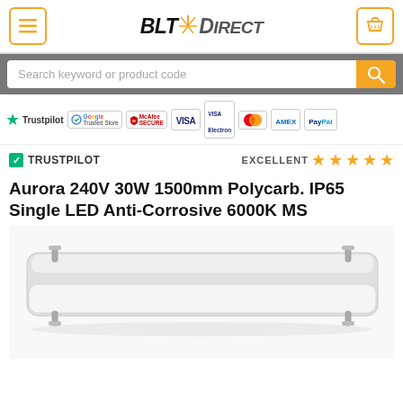BLT Direct
Search keyword or product code
[Figure (logo): Trust badges row: Trustpilot, Google Trusted Store, McAfee Secure, Visa, Visa Electron, Mastercard, Amex, PayPal]
TRUSTPILOT  EXCELLENT (5 stars)
Aurora 240V 30W 1500mm Polycarb. IP65 Single LED Anti-Corrosive 6000K MS
[Figure (photo): Product photo of a white elongated LED anti-corrosive light fitting with polycarbonate casing and metal clips, shown at an angle on white background]